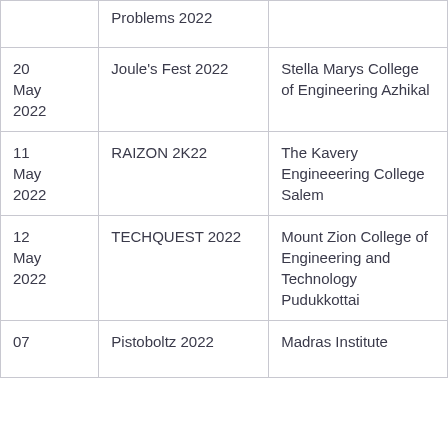|  | Problems 2022 |  |
| 20
May
2022 | Joule's Fest 2022 | Stella Marys College of Engineering Azhikal |
| 11
May
2022 | RAIZON 2K22 | The Kavery Engineeering College Salem |
| 12
May
2022 | TECHQUEST 2022 | Mount Zion College of Engineering and Technology Pudukkottai |
| 07 | Pistoboltz 2022 | Madras Institute |